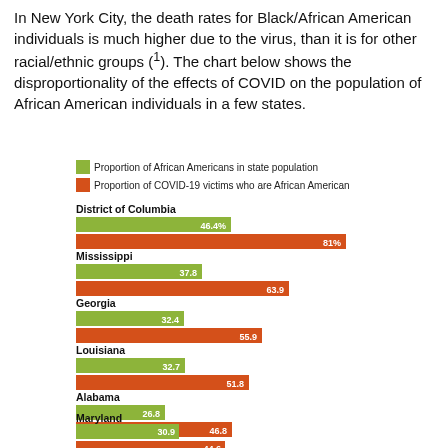In New York City, the death rates for Black/African American individuals is much higher due to the virus, than it is for other racial/ethnic groups (1). The chart below shows the disproportionality of the effects of COVID on the population of African American individuals in a few states.
[Figure (grouped-bar-chart): ]